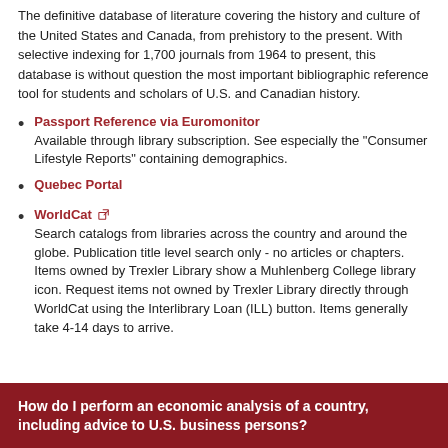The definitive database of literature covering the history and culture of the United States and Canada, from prehistory to the present. With selective indexing for 1,700 journals from 1964 to present, this database is without question the most important bibliographic reference tool for students and scholars of U.S. and Canadian history.
Passport Reference via Euromonitor
Available through library subscription. See especially the "Consumer Lifestyle Reports" containing demographics.
Quebec Portal
WorldCat
Search catalogs from libraries across the country and around the globe. Publication title level search only - no articles or chapters. Items owned by Trexler Library show a Muhlenberg College library icon. Request items not owned by Trexler Library directly through WorldCat using the Interlibrary Loan (ILL) button. Items generally take 4-14 days to arrive.
How do I perform an economic analysis of a country, including advice to U.S. business persons?